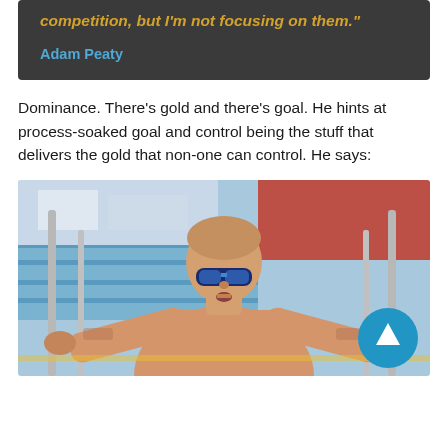competition, but I'm not focusing on them." Adam Peaty
Dominance. There's gold and there's goal. He hints at process-soaked goal and control being the stuff that delivers the gold that non-one can control. He says:
[Figure (photo): Adam Peaty, Olympic swimmer, holding starting blocks at a swimming pool, wearing blue mirrored goggles, shown from the chest up with tattoos visible on his arms. Stadium seating visible in background.]